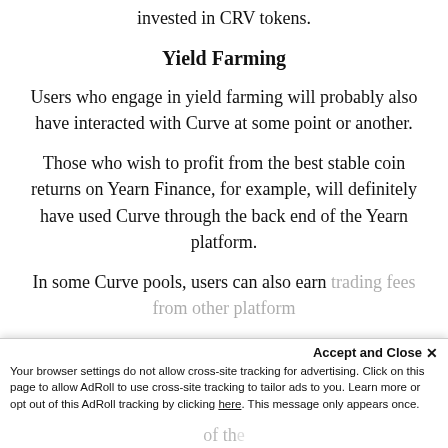invested in CRV tokens.
Yield Farming
Users who engage in yield farming will probably also have interacted with Curve at some point or another.
Those who wish to profit from the best stable coin returns on Yearn Finance, for example, will definitely have used Curve through the back end of the Yearn platform.
In some Curve pools, users can also earn trading fees from other platforms...
Accept and Close ✕ Your browser settings do not allow cross-site tracking for advertising. Click on this page to allow AdRoll to use cross-site tracking to tailor ads to you. Learn more or opt out of this AdRoll tracking by clicking here. This message only appears once.